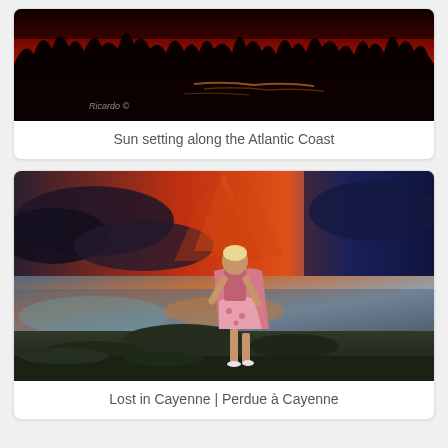[Figure (photo): Dramatic red sunset over the Atlantic Coast with dark silhouetted trees along the horizon and glowing light trails on water]
Sun setting along the Atlantic Coast
[Figure (photo): Fashion photo of a blonde woman in a pink floral dress posing on rocks against a dramatic sunset sky with orange and blue clouds reflected on calm water — Lost in Cayenne]
Lost in Cayenne | Perdue à Cayenne